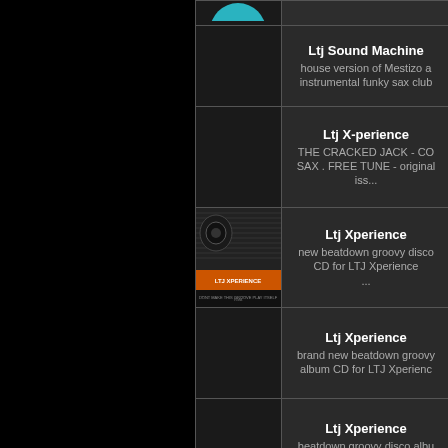| Thumbnail | Artist / Description |
| --- | --- |
| [image: teal disc] | Ltj Sound Machine
house version of Mestizo a instrumental funky sax club |
| [empty] | Ltj X-perience
THE CRACKED JACK - CO SAX . FREE TUNE - original iss... |
| [album art: LTJ XPERIENCE] | Ltj Xperience
new beatdown groovy disco CD for LTJ Xperience ... |
| [empty] | Ltj Xperience
brand new beatdown groovy album CD for LTJ Xperienc |
| [empty] | Ltj Xperience
beatdown groovy disco albu for LTJ Xperience... |